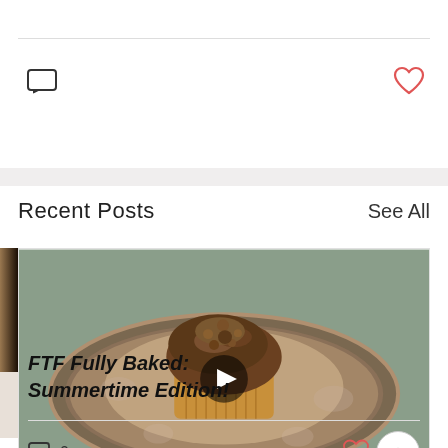[Figure (screenshot): Comment icon (speech bubble outline)]
[Figure (illustration): Heart/like icon in red outline]
Recent Posts
See All
[Figure (photo): Photo of a baked muffin on a decorative floral plate, with a video play button overlay]
FTF Fully Baked: Summertime Edition!
0
[Figure (illustration): Heart/like icon in red outline]
[Figure (illustration): Back to top chevron button]